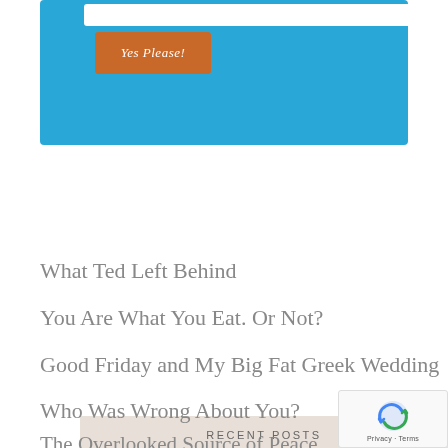[Figure (screenshot): Blue subscription box with white input field at top and orange 'Yes Please!' button]
RECENT POSTS
What Ted Left Behind
You Are What You Eat. Or Not?
Good Friday and My Big Fat Greek Wedding
Who Was Wrong About You?
The Overlooked Source of Peace